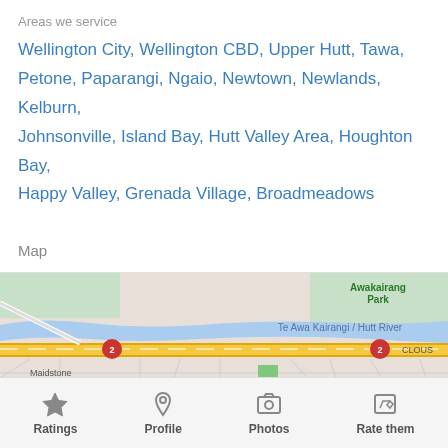Areas we service
Wellington City, Wellington CBD, Upper Hutt, Tawa, Petone, Paparangi, Ngaio, Newtown, Newlands, Kelburn, Johnsonville, Island Bay, Hutt Valley Area, Houghton Bay, Happy Valley, Grenada Village, Broadmeadows
Map
[Figure (map): Google Maps view showing Te Awa Kairangi / Hutt River, road route 2, Awakairangi Park, CLOUST area, Maidstone mediate School, and ERPENTOWN area.]
Ratings | Profile | Photos | Rate them